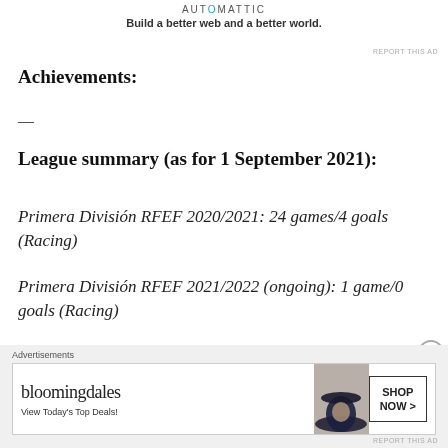AUTOMATTIC
Build a better web and a better world.
Achievements:
—
League summary (as for 1 September 2021):
Primera División RFEF 2020/2021: 24 games/4 goals (Racing)
Primera División RFEF 2021/2022 (ongoing): 1 game/0 goals (Racing)
Advertisements
bloomingdales View Today's Top Deals! SHOP NOW >